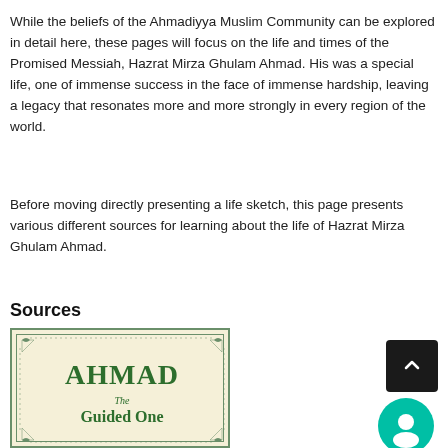While the beliefs of the Ahmadiyya Muslim Community can be explored in detail here, these pages will focus on the life and times of the Promised Messiah, Hazrat Mirza Ghulam Ahmad. His was a special life, one of immense success in the face of immense hardship, leaving a legacy that resonates more and more strongly in every region of the world.
Before moving directly presenting a life sketch, this page presents various different sources for learning about the life of Hazrat Mirza Ghulam Ahmad.
Sources
[Figure (illustration): Book cover for 'Ahmad The Guided One' with green decorative border on cream/beige background, text in dark green serif font]